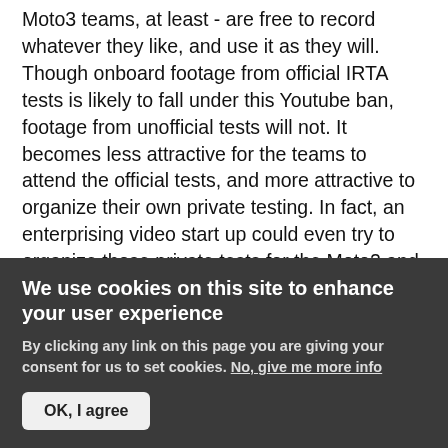Moto3 teams, at least - are free to record whatever they like, and use it as they will. Though onboard footage from official IRTA tests is likely to fall under this Youtube ban, footage from unofficial tests will not. It becomes less attractive for the teams to attend the official tests, and more attractive to organize their own private testing. In fact, an enterprising video start up could even try to organize those private tests for the Moto2 and Moto3 teams, and provide a full video service, including footage from both racetrack and garages to post on video websites, circumventing Dorna's control altogether, and creating a de facto competitor.
To an extent, this is what is happening in the USA. As
We use cookies on this site to enhance your user experience
By clicking any link on this page you are giving your consent for us to set cookies. No, give me more info
OK, I agree